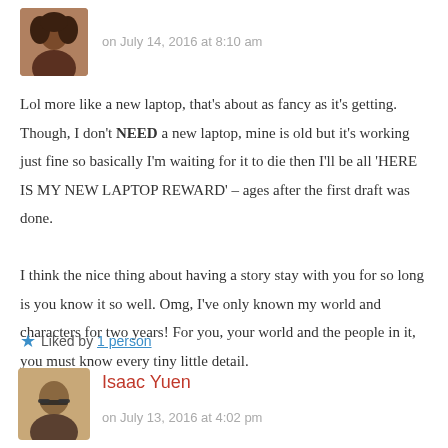[Figure (photo): Profile avatar photo of a woman with curly hair]
on July 14, 2016 at 8:10 am
Lol more like a new laptop, that's about as fancy as it's getting. Though, I don't NEED a new laptop, mine is old but it's working just fine so basically I'm waiting for it to die then I'll be all 'HERE IS MY NEW LAPTOP REWARD' – ages after the first draft was done.

I think the nice thing about having a story stay with you for so long is you know it so well. Omg, I've only known my world and characters for two years! For you, your world and the people in it, you must know every tiny little detail.
★ Liked by 1 person
[Figure (photo): Profile avatar photo of Isaac Yuen, a man with glasses]
Isaac Yuen
on July 13, 2016 at 4:02 pm